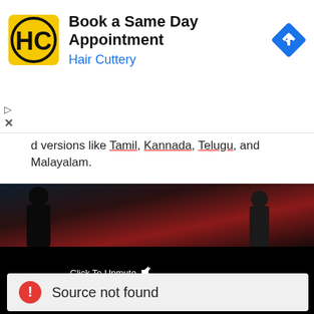[Figure (screenshot): Hair Cuttery advertisement banner: logo with HC letters on yellow background, text 'Book a Same Day Appointment' and 'Hair Cuttery' in blue, blue diamond navigation arrow icon on right]
d versions like Tamil, Kannada, Telugu, and Malayalam.
[Figure (screenshot): Dark video thumbnail showing silhouette of person against red-lit background]
[Figure (screenshot): Black video player area with 'Click To Unmute' text and mute icon, and an error dialog showing red warning circle icon and text 'Source not found']